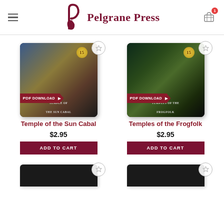Pelgrane Press
[Figure (screenshot): Product card for 'Temple of the Sun Cabal' showing tablet with PDF Download badge, price $2.95, and Add to Cart button]
[Figure (screenshot): Product card for 'Temples of the Frogfolk' showing tablet with PDF Download badge, price $2.95, and Add to Cart button]
[Figure (screenshot): Partially visible product card at bottom left]
[Figure (screenshot): Partially visible product card at bottom right]